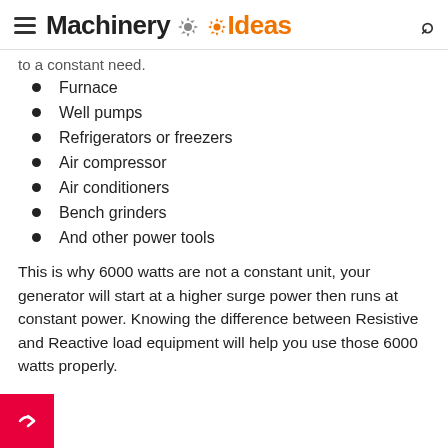Machinery Ideas
to a constant need.
Furnace
Well pumps
Refrigerators or freezers
Air compressor
Air conditioners
Bench grinders
And other power tools
This is why 6000 watts are not a constant unit, your generator will start at a higher surge power then runs at constant power. Knowing the difference between Resistive and Reactive load equipment will help you use those 6000 watts properly.